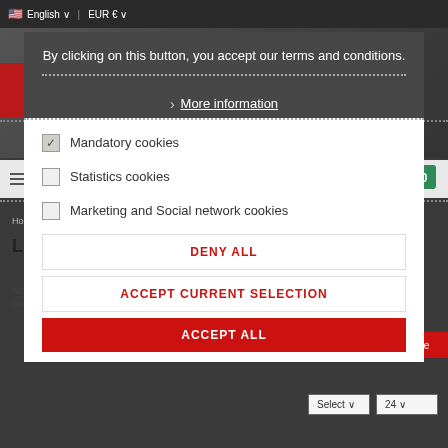By clicking on this button, you accept our terms and conditions.
More information
Mandatory cookies
Statistics cookies
Marketing and Social network cookies
DENY ALL
ACCEPT CURRENT SELECTION
ACCEPT ALL